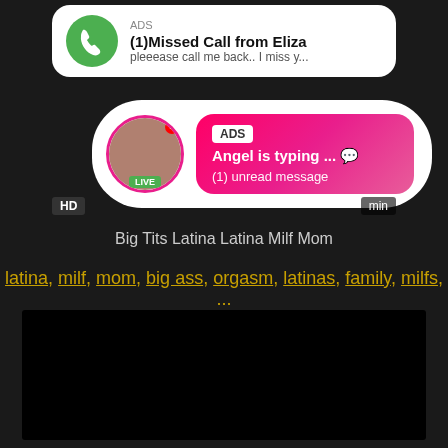[Figure (screenshot): Advertisement banner showing a missed call notification from Eliza with a green phone icon]
[Figure (screenshot): Chat bubble advertisement showing Angel is typing with pink gradient background and LIVE badge]
Big Tits Latina Latina Milf Mom
latina, milf, mom, big ass, orgasm, latinas, family, milfs, ...
[Figure (screenshot): Dark video player area]